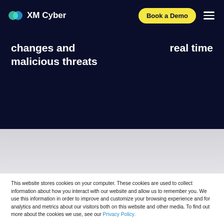XM Cyber
changes and malicious threats   real time
This website stores cookies on your computer. These cookies are used to collect information about how you interact with our website and allow us to remember you. We use this information in order to improve and customize your browsing experience and for analytics and metrics about our visitors both on this website and other media. To find out more about the cookies we use, see our Privacy Policy.
Accept
Decline